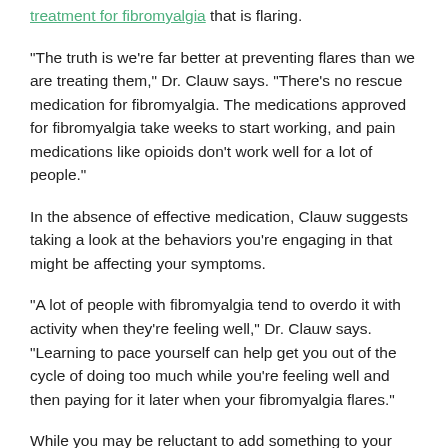treatment for fibromyalgia that is flaring.
“The truth is we’re far better at preventing flares than we are treating them,” Dr. Clauw says. “There’s no rescue medication for fibromyalgia. The medications approved for fibromyalgia take weeks to start working, and pain medications like opioids don’t work well for a lot of people.”
In the absence of effective medication, Clauw suggests taking a look at the behaviors you’re engaging in that might be affecting your symptoms.
“A lot of people with fibromyalgia tend to overdo it with activity when they’re feeling well,” Dr. Clauw says. “Learning to pace yourself can help get you out of the cycle of doing too much while you’re feeling well and then paying for it later when your fibromyalgia flares.”
While you may be reluctant to add something to your schedule if